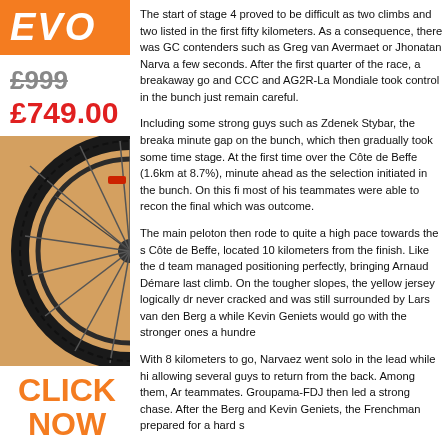EVO
£999
£749.00
[Figure (photo): Close-up of a black bicycle wheel/rim with spokes, against an orange/tan background]
CLICK NOW
The start of stage 4 proved to be difficult as two climbs and two listed in the first fifty kilometers. As a consequence, there was GC contenders such as Greg van Avermaet or Jhonatan Narva a few seconds. After the first quarter of the race, a breakaway go and CCC and AG2R-La Mondiale took control in the bunch just remain careful.
Including some strong guys such as Zdenek Stybar, the breaka minute gap on the bunch, which then gradually took some time stage. At the first time over the Côte de Beffe (1.6km at 8.7%), minute ahead as the selection initiated in the bunch. On this fi most of his teammates were able to recon the final which was outcome.
The main peloton then rode to quite a high pace towards the s Côte de Beffe, located 10 kilometers from the finish. Like the d team managed positioning perfectly, bringing Arnaud Démare last climb. On the tougher slopes, the yellow jersey logically dr never cracked and was still surrounded by Lars van den Berg a while Kevin Geniets would go with the stronger ones a hundre
With 8 kilometers to go, Narvaez went solo in the lead while hi allowing several guys to return from the back. Among them, Ar teammates. Groupama-FDJ then led a strong chase. After the Berg and Kevin Geniets, the Frenchman prepared for a hard s